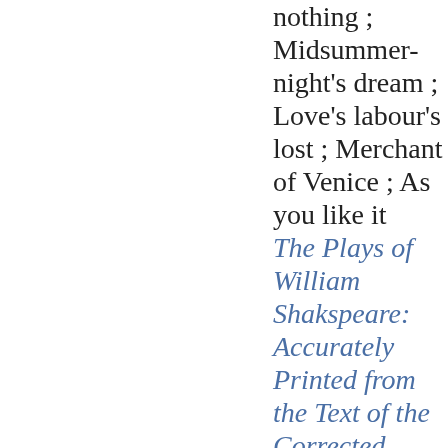nothing ; Midsummer-night's dream ; Love's labour's lost ; Merchant of Venice ; As you like it
The Plays of William Shakspeare: Accurately Printed from the Text of the Corrected Copy Left by the Late George Steevens, with Glossarial Notes, and a